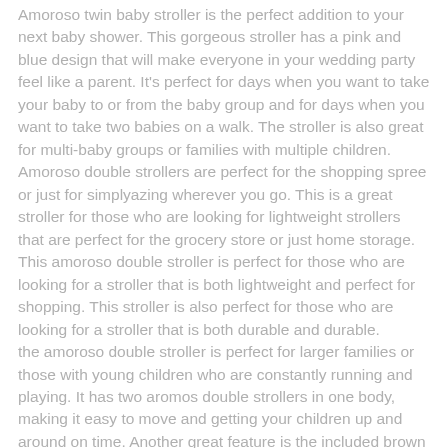Amoroso twin baby stroller is the perfect addition to your next baby shower. This gorgeous stroller has a pink and blue design that will make everyone in your wedding party feel like a parent. It's perfect for days when you want to take your baby to or from the baby group and for days when you want to take two babies on a walk. The stroller is also great for multi-baby groups or families with multiple children. Amoroso double strollers are perfect for the shopping spree or just for simplyazing wherever you go. This is a great stroller for those who are looking for lightweight strollers that are perfect for the grocery store or just home storage. This amoroso double stroller is perfect for those who are looking for a stroller that is both lightweight and perfect for shopping. This stroller is also perfect for those who are looking for a stroller that is both durable and durable. the amoroso double stroller is perfect for larger families or those with young children who are constantly running and playing. It has two aromos double strollers in one body, making it easy to move and getting your children up and around on time. Another great feature is the included brown fabric that makes it easy to customize to personalize your family's look.